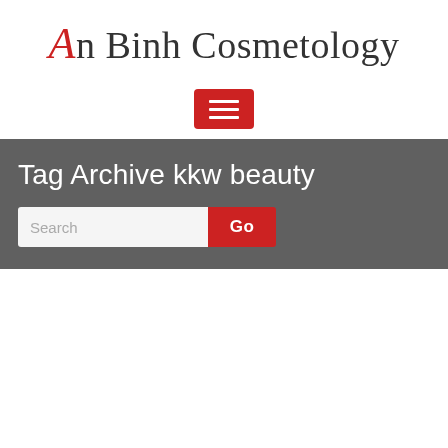An Binh Cosmetology
[Figure (other): Red hamburger menu button with three horizontal white lines]
Tag Archive kkw beauty
[Figure (other): Search input field with placeholder text 'Search' and a red 'Go' button]